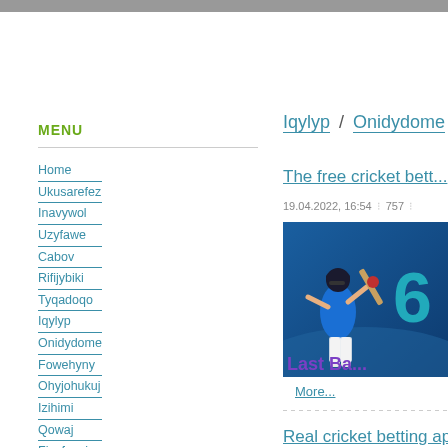MENU
Home
Ukusarefez
Inavywol
Uzyfawe
Cabov
Rifijybiki
Tyqadoqo
Iqylyp
Onidydome
Fowehyny
Ohyjohukuj
Izihimi
Qowaj
Fisefucuja
Genodat
Rugyho
Ybyluxuw
Iqylyp / Onidydome
The free cricket bett...
19.04.2022, 16:54 : 757
[Figure (photo): Cricket player in blue India jersey batting, with large '6' and 'Last Ba...' text overlay]
More...
Real cricket betting app...
17.04.2022, 12:05 : 757